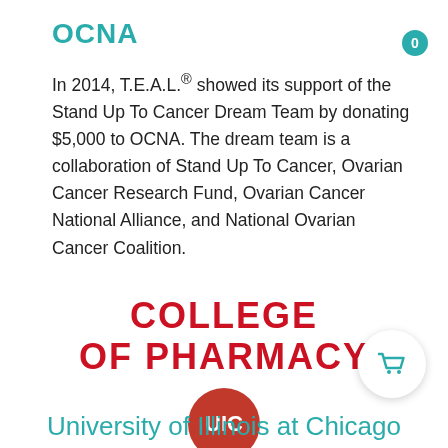OCNA
In 2014, T.E.A.L.® showed its support of the Stand Up To Cancer Dream Team by donating $5,000 to OCNA. The dream team is a collaboration of Stand Up To Cancer, Ovarian Cancer Research Fund, Ovarian Cancer National Alliance, and National Ovarian Cancer Coalition.
[Figure (logo): UIC College of Pharmacy logo with red bold text 'COLLEGE OF PHARMACY' and red circular UIC badge]
University of Illinois at Chicago